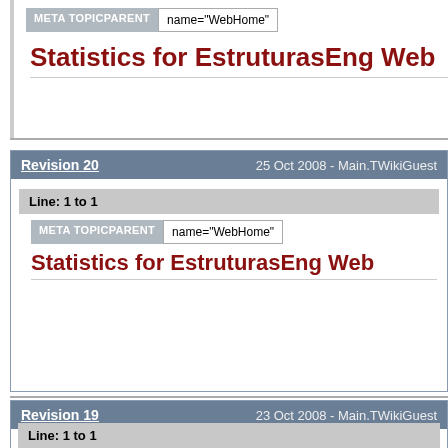META TOPICPARENT  name="WebHome"
Statistics for EstruturasEng Web
Revision 20   25 Oct 2008 - Main.TWikiGuest
Line: 1 to 1
META TOPICPARENT  name="WebHome"
Statistics for EstruturasEng Web
Revision 19   23 Oct 2008 - Main.TWikiGuest
Line: 1 to 1